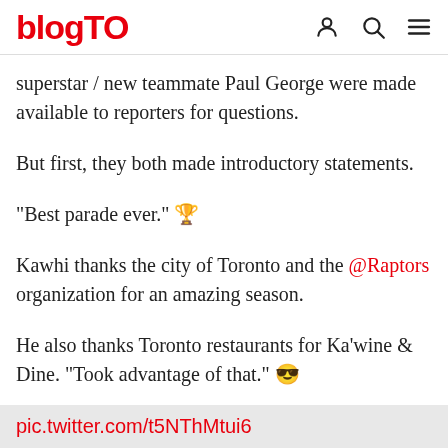blogTO
superstar / new teammate Paul George were made available to reporters for questions.
But first, they both made introductory statements.
"Best parade ever." 🏆
Kawhi thanks the city of Toronto and the @Raptors organization for an amazing season.
He also thanks Toronto restaurants for Ka'wine & Dine. "Took advantage of that." 😎
pic.twitter.com/t5NThMtui6